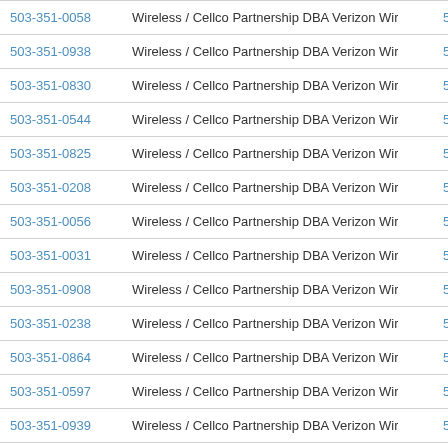| Phone | Carrier | Suffix |
| --- | --- | --- |
| 503-351-0058 | Wireless / Cellco Partnership DBA Verizon Wireless | 5033 |
| 503-351-0938 | Wireless / Cellco Partnership DBA Verizon Wireless | 5033 |
| 503-351-0830 | Wireless / Cellco Partnership DBA Verizon Wireless | 5033 |
| 503-351-0544 | Wireless / Cellco Partnership DBA Verizon Wireless | 5033 |
| 503-351-0825 | Wireless / Cellco Partnership DBA Verizon Wireless | 5033 |
| 503-351-0208 | Wireless / Cellco Partnership DBA Verizon Wireless | 5033 |
| 503-351-0056 | Wireless / Cellco Partnership DBA Verizon Wireless | 5033 |
| 503-351-0031 | Wireless / Cellco Partnership DBA Verizon Wireless | 5033 |
| 503-351-0908 | Wireless / Cellco Partnership DBA Verizon Wireless | 5033 |
| 503-351-0238 | Wireless / Cellco Partnership DBA Verizon Wireless | 5033 |
| 503-351-0864 | Wireless / Cellco Partnership DBA Verizon Wireless | 5033 |
| 503-351-0597 | Wireless / Cellco Partnership DBA Verizon Wireless | 5033 |
| 503-351-0939 | Wireless / Cellco Partnership DBA Verizon Wireless | 5033 |
| 503-351-0489 | Wireless / Cellco Partnership DBA Verizon Wireless | 5033 |
| 503-351-0156 | Wireless / Cellco Partnership DBA Verizon Wireless | ▲ 33 |
| 503-351-0072 | Wireless / Cellco Partnership DBA Verizon Wireless | 5033 |
| 503-351-0987 | Wireless / Cellco Partnership DBA Verizon Wireless | 5033 |
| 503-351-0488 | Wireless / Cellco Partnership DBA Verizon Wireless | 5033 |